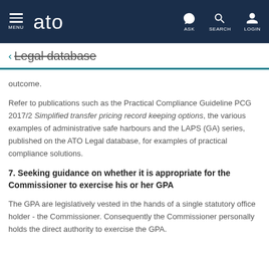MENU  ato  ASK  SEARCH  LOGIN
< Legal database
outcome.
Refer to publications such as the Practical Compliance Guideline PCG 2017/2 Simplified transfer pricing record keeping options, the various examples of administrative safe harbours and the LAPS (GA) series, published on the ATO Legal database, for examples of practical compliance solutions.
7. Seeking guidance on whether it is appropriate for the Commissioner to exercise his or her GPA
The GPA are legislatively vested in the hands of a single statutory office holder - the Commissioner. Consequently the Commissioner personally holds the direct authority to exercise the GPA.